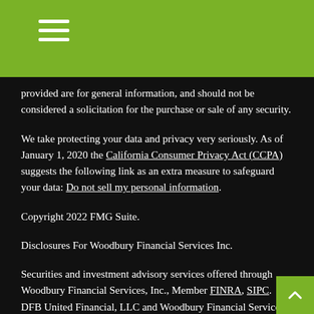provided are for general information, and should not be considered a solicitation for the purchase or sale of any security.
We take protecting your data and privacy very seriously. As of January 1, 2020 the California Consumer Privacy Act (CCPA) suggests the following link as an extra measure to safeguard your data: Do not sell my personal information.
Copyright 2022 FMG Suite.
Disclosures For Woodbury Financial Services Inc.
Securities and investment advisory services offered through Woodbury Financial Services, Inc., Member FINRA, SIPC. DFB United Financial, LLC and Woodbury Financial Services, Inc are not affiliated entities.